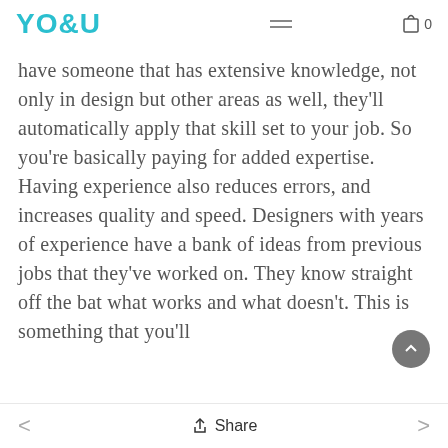YO&U
have someone that has extensive knowledge, not only in design but other areas as well, they'll automatically apply that skill set to your job. So you're basically paying for added expertise. Having experience also reduces errors, and increases quality and speed. Designers with years of experience have a bank of ideas from previous jobs that they've worked on. They know straight off the bat what works and what doesn't. This is something that you'll
< Share >